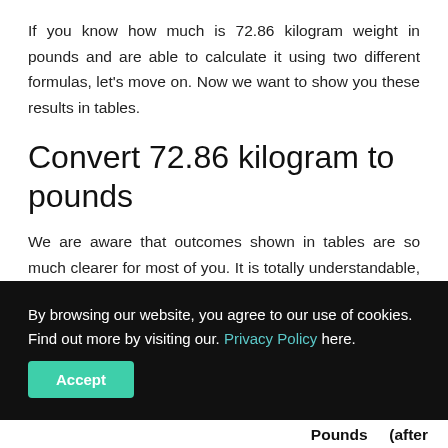If you know how much is 72.86 kilogram weight in pounds and are able to calculate it using two different formulas, let's move on. Now we want to show you these results in tables.
Convert 72.86 kilogram to pounds
We are aware that outcomes shown in tables are so much clearer for most of you. It is totally understandable, so we gathered all these outcomes in charts for your convenience. Due to this you can easily make a
By browsing our website, you agree to our use of cookies. Find out more by visiting our. Privacy Policy here.
| Pounds | (after |
| --- | --- |